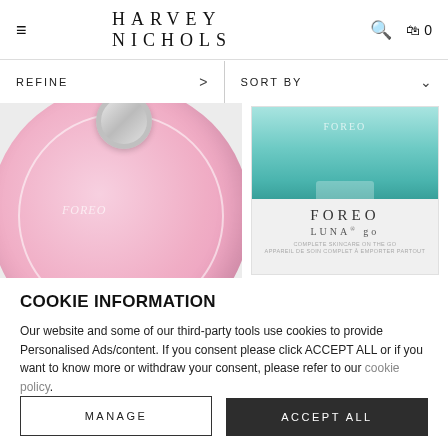HARVEY NICHOLS
REFINE > | SORT BY ∨
[Figure (photo): Two FOREO skincare devices: a pink circular FOREO device on the left and a teal/mint FOREO LUNA go device with its packaging on the right]
COOKIE INFORMATION
Our website and some of our third-party tools use cookies to provide Personalised Ads/content. If you consent please click ACCEPT ALL or if you want to know more or withdraw your consent, please refer to our cookie policy.
MANAGE
ACCEPT ALL